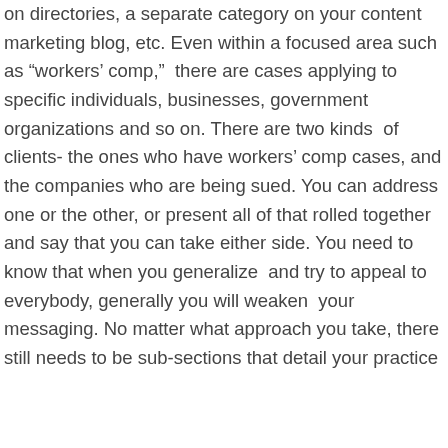on directories, a separate category on your content marketing blog, etc. Even within a focused area such as “workers’ comp,”  there are cases applying to specific individuals, businesses, government organizations and so on. There are two kinds  of clients- the ones who have workers’ comp cases, and the companies who are being sued. You can address one or the other, or present all of that rolled together and say that you can take either side. You need to know that when you generalize  and try to appeal to everybody, generally you will weaken  your messaging. No matter what approach you take, there still needs to be sub-sections that detail your practice